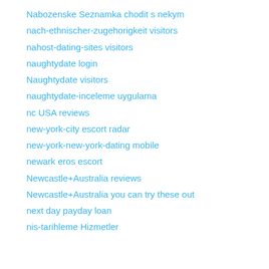Nabozenske Seznamka chodit s nekym
nach-ethnischer-zugehorigkeit visitors
nahost-dating-sites visitors
naughtydate login
Naughtydate visitors
naughtydate-inceleme uygulama
nc USA reviews
new-york-city escort radar
new-york-new-york-dating mobile
newark eros escort
Newcastle+Australia reviews
Newcastle+Australia you can try these out
next day payday loan
nis-tarihleme Hizmetler